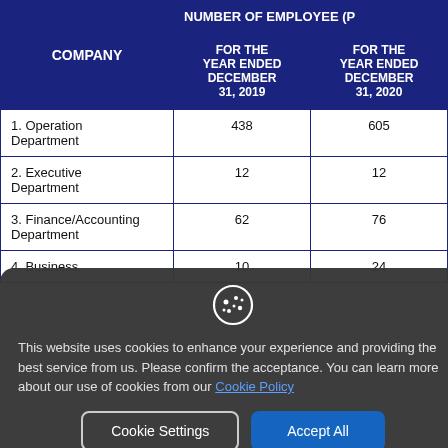| COMPANY | NUMBER OF EMPLOYEE (P… FOR THE YEAR ENDED DECEMBER 31, 2019 | FOR THE YEAR ENDED DECEMBER 31, 2020 |
| --- | --- | --- |
| 1. Operation Department | 438 | 605 |
| 2. Executive Department | 12 | 12 |
| 3. Finance/Accounting Department | 62 | 76 |
| 4. Business | 10 | 24 |
This website uses cookies to enhance your experience and providing the best service from us. Please confirm the acceptance. You can learn more about our use of cookies from our Cookie Policy